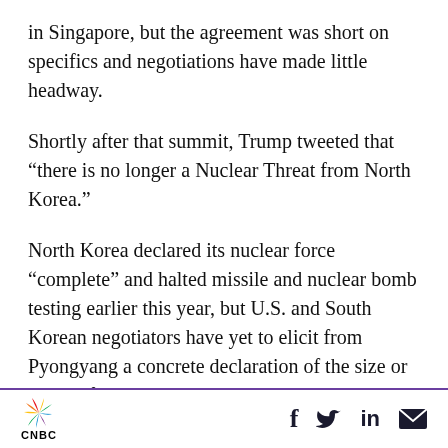in Singapore, but the agreement was short on specifics and negotiations have made little headway.
Shortly after that summit, Trump tweeted that “there is no longer a Nuclear Threat from North Korea.”
North Korea declared its nuclear force “complete” and halted missile and nuclear bomb testing earlier this year, but U.S. and South Korean negotiators have yet to elicit from Pyongyang a concrete declaration of the size or scope of the weapons programs, or a promise to
[Figure (logo): CNBC logo with peacock graphic on the left, and social media icons (Facebook, Twitter, LinkedIn, Email) on the right, separated by a purple horizontal rule]